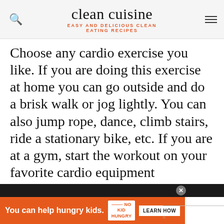clean cuisine
EASY AND DELICIOUS CLEAN EATING RECIPES
Choose any cardio exercise you like. If you are doing this exercise at home you can go outside and do a brisk walk or jog lightly. You can also jump rope, dance, climb stairs, ride a stationary bike, etc. If you are at a gym, start the workout on your favorite cardio equipment (treadmill, bike, elliptical trainer, stair stepper, etc). For the cardio warm-up you want to increase your heart rate and
[Figure (infographic): Advertisement banner: orange background with text 'You can help hungry kids.' and No Kid Hungry logo with 'LEARN HOW' button. Dark top bar with close button. Watermark logo on right.]